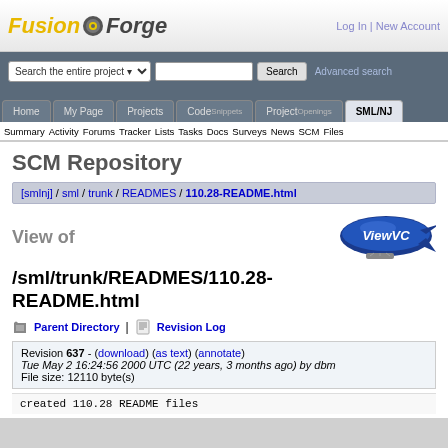[Figure (logo): FusionForge logo with gear icon]
Log In | New Account
Search the entire project ▾  [search input]  Search  Advanced search
Home  My Page  Projects  Code  Project  SML/NJ
Summary Activity Forums Tracker Lists Tasks Docs Surveys News SCM Files
SCM Repository
[smlnj] / sml / trunk / READMES / 110.28-README.html
View of
[Figure (logo): ViewVC blimp logo]
/sml/trunk/READMES/110.28-README.html
Parent Directory | Revision Log
Revision 637 - (download) (as text) (annotate)
Tue May 2 16:24:56 2000 UTC (22 years, 3 months ago) by dbm
File size: 12110 byte(s)
created 110.28 README files